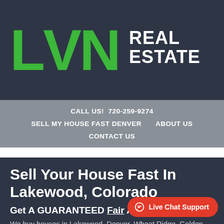[Figure (logo): LVN Real Estate logo with large green block letters L, V, N (with upward arrow on N) and white 'REAL ESTATE' text on dark navy background]
CALL US!  720-259-9274
SELL MY HOUSE FAST DENVER    ABOUT US
CONTACT US
Sell Your House Fast In Lakewood, Colorado
Get A GUARANTEED Fair All Cash Offer
We buy houses in Lakewood, Denver, Wheat Ridge, Golden, Aurora, Westminster, Thornton,